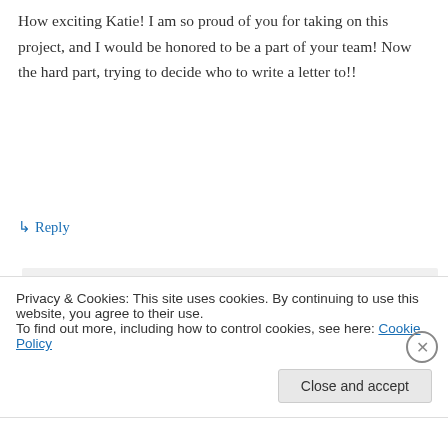How exciting Katie! I am so proud of you for taking on this project, and I would be honored to be a part of your team! Now the hard part, trying to decide who to write a letter to!!
↳ Reply
Katie on May 21, 2015 at 10:45 pm
Thank you so much, Shauna! 🙂
↳ Reply
Privacy & Cookies: This site uses cookies. By continuing to use this website, you agree to their use.
To find out more, including how to control cookies, see here: Cookie Policy
Close and accept